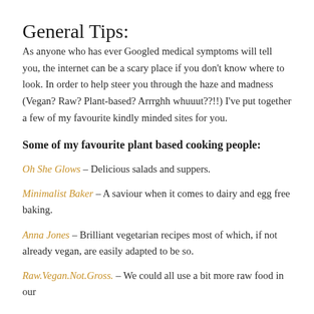General Tips:
As anyone who has ever Googled medical symptoms will tell you, the internet can be a scary place if you don't know where to look. In order to help steer you through the haze and madness (Vegan? Raw? Plant-based? Arrrghh whuuut??!!) I've put together a few of my favourite kindly minded sites for you.
Some of my favourite plant based cooking people:
Oh She Glows – Delicious salads and suppers.
Minimalist Baker – A saviour when it comes to dairy and egg free baking.
Anna Jones – Brilliant vegetarian recipes most of which, if not already vegan, are easily adapted to be so.
Raw.Vegan.Not.Gross. – We could all use a bit more raw food in our